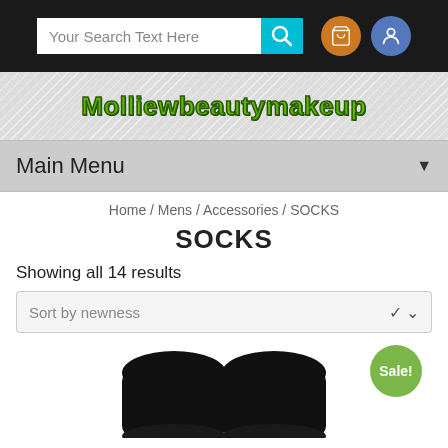[Figure (screenshot): Website header with search input bar, cyan search button with magnifying glass icon, orange cart icon circle, blue user icon circle on dark background]
[Figure (logo): Molliewbeautymakeup site logo in green bold text on diagonal striped grey background]
Main Menu
Home / Mens / Accessories / SOCKS
SOCKS
Showing all 14 results
Sort by newness
[Figure (photo): Black socks product photo showing two black socks side by side with Sale! badge in green circle]